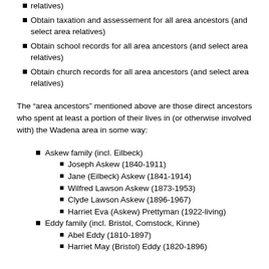relatives)
Obtain taxation and assessement for all area ancestors (and select area relatives)
Obtain school records for all area ancestors (and select area relatives)
Obtain church records for all area ancestors (and select area relatives)
The “area ancestors” mentioned above are those direct ancestors who spent at least a portion of their lives in (or otherwise involved with) the Wadena area in some way:
Askew family (incl. Eilbeck)
Joseph Askew (1840-1911)
Jane (Eilbeck) Askew (1841-1914)
Wilfred Lawson Askew (1873-1953)
Clyde Lawson Askew (1896-1967)
Harriet Eva (Askew) Prettyman (1922-living)
Eddy family (incl. Bristol, Comstock, Kinne)
Abel Eddy (1810-1897)
Harriet May (Bristol) Eddy (1820-1896)